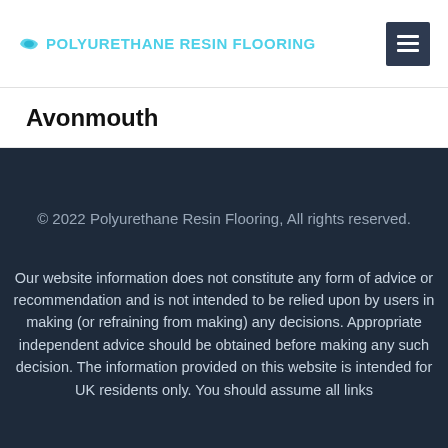POLYURETHANE RESIN FLOORING
Avonmouth
© 2022 Polyurethane Resin Flooring, All rights reserved.
Our website information does not constitute any form of advice or recommendation and is not intended to be relied upon by users in making (or refraining from making) any decisions. Appropriate independent advice should be obtained before making any such decision. The information provided on this website is intended for UK residents only. You should assume all links